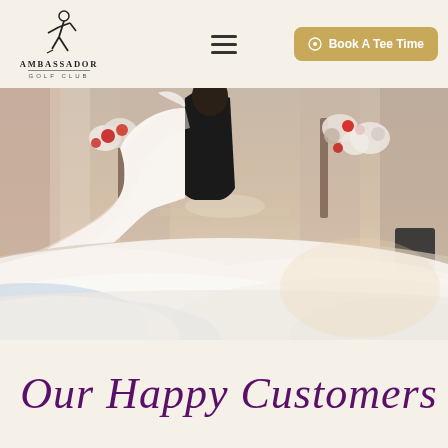Ambassador Golf Club — Book A Tee Time
[Figure (photo): Wedding couple dancing on a dance floor covered in dry ice fog/smoke, with floral arrangements of white and red flowers in the background against pink/ivory drapes.]
Our Happy Customers